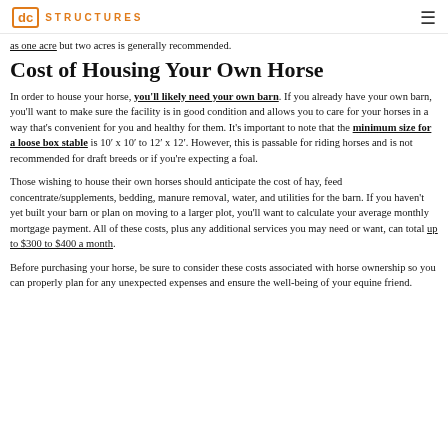dc STRUCTURES
as one acre but two acres is generally recommended.
Cost of Housing Your Own Horse
In order to house your horse, you'll likely need your own barn. If you already have your own barn, you'll want to make sure the facility is in good condition and allows you to care for your horses in a way that's convenient for you and healthy for them. It's important to note that the minimum size for a loose box stable is 10' x 10' to 12' x 12'. However, this is passable for riding horses and is not recommended for draft breeds or if you're expecting a foal.
Those wishing to house their own horses should anticipate the cost of hay, feed concentrate/supplements, bedding, manure removal, water, and utilities for the barn. If you haven't yet built your barn or plan on moving to a larger plot, you'll want to calculate your average monthly mortgage payment. All of these costs, plus any additional services you may need or want, can total up to $300 to $400 a month.
Before purchasing your horse, be sure to consider these costs associated with horse ownership so you can properly plan for any unexpected expenses and ensure the well-being of your equine friend.